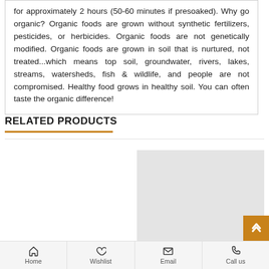for approximately 2 hours (50-60 minutes if presoaked). Why go organic? Organic foods are grown without synthetic fertilizers, pesticides, or herbicides. Organic foods are not genetically modified. Organic foods are grown in soil that is nurtured, not treated...which means top soil, groundwater, rivers, lakes, streams, watersheds, fish & wildlife, and people are not compromised. Healthy food grows in healthy soil. You can often taste the organic difference!
RELATED PRODUCTS
[Figure (photo): Related product image placeholder - light grey rectangle]
Home   Wishlist   Email   Call us